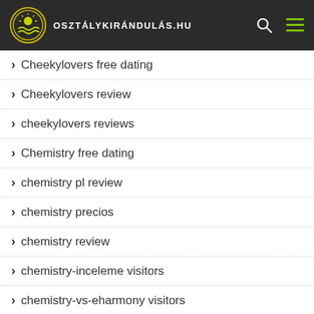osztálykirándulás.hu
Cheekylovers free dating
Cheekylovers review
cheekylovers reviews
Chemistry free dating
chemistry pl review
chemistry precios
chemistry review
chemistry-inceleme visitors
chemistry-vs-eharmony visitors
chemistry-vs-match username